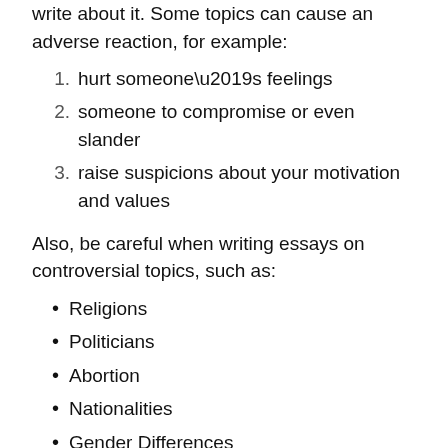write about it. Some topics can cause an adverse reaction, for example:
1. hurt someone's feelings
2. someone to compromise or even slander
3. raise suspicions about your motivation and values
Also, be careful when writing essays on controversial topics, such as:
Religions
Politicians
Abortion
Nationalities
Gender Differences
Remember, this should be a neutral writing style, without